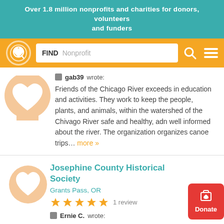Over 1.8 million nonprofits and charities for donors, volunteers and funders
[Figure (screenshot): Navigation bar with logo, FIND Nonprofit search box, search icon, and hamburger menu icon on orange background]
gab39 wrote: Friends of the Chicago River exceeds in education and activities. They work to keep the people, plants, and animals, within the watershed of the Chivago River safe and healthy, adn well informed about the river. The organization organizes canoe trips... more »
Josephine County Historical Society
Grants Pass, OR
1 review
Ernie C. wrote: